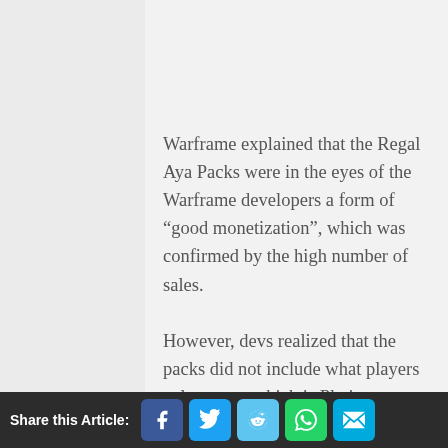Warframe explained that the Regal Aya Packs were in the eyes of the Warframe developers a form of “good monetization”, which was confirmed by the high number of sales.
However, devs realized that the packs did not include what players value most, which is Platinum, hence the addition of Platinum to Regal Aya Packs.
Share this Article: